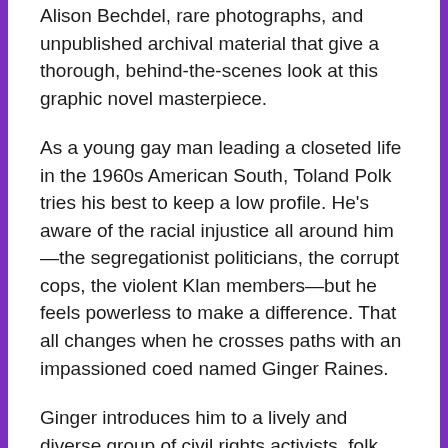Alison Bechdel, rare photographs, and unpublished archival material that give a thorough, behind-the-scenes look at this graphic novel masterpiece.
As a young gay man leading a closeted life in the 1960s American South, Toland Polk tries his best to keep a low profile. He's aware of the racial injustice all around him—the segregationist politicians, the corrupt cops, the violent Klan members—but he feels powerless to make a difference. That all changes when he crosses paths with an impassioned coed named Ginger Raines.
Ginger introduces him to a lively and diverse group of civil rights activists, folk singers, and night club performers—men and women who live authentically despite the conformist values of their hometown. Enchanted by this new community, Toland is joining...